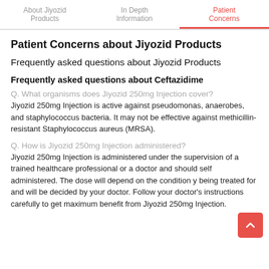About Jiyozid Products | In Depth Information | Patient Concerns
Patient Concerns about Jiyozid Products
Frequently asked questions about Jiyozid Products
Frequently asked questions about Ceftazidime
Q. What organisms does Jiyozid 250mg Injection cover?
Jiyozid 250mg Injection is active against pseudomonas, anaerobes, and staphylococcus bacteria. It may not be effective against methicillin- resistant Staphylococcus aureus (MRSA).
Q. How is Jiyozid 250mg Injection administered?
Jiyozid 250mg Injection is administered under the supervision of a trained healthcare professional or a doctor and should self administered. The dose will depend on the condition y being treated for and will be decided by your doctor. Follow your doctor's instructions carefully to get maximum benefit from Jiyozid 250mg Injection.